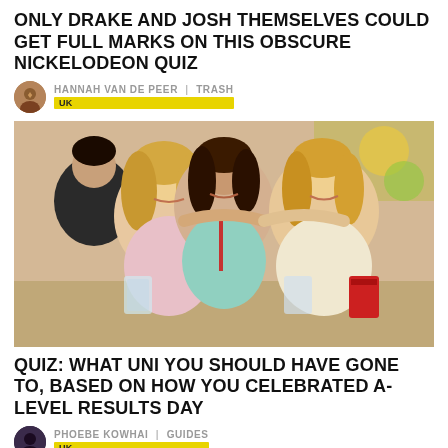ONLY DRAKE AND JOSH THEMSELVES COULD GET FULL MARKS ON THIS OBSCURE NICKELODEON QUIZ
HANNAH VAN DE PEER | TRASH
[Figure (photo): Three young women smiling and posing together at a party, holding drinks including a red solo cup. Other people visible in the background.]
QUIZ: WHAT UNI YOU SHOULD HAVE GONE TO, BASED ON HOW YOU CELEBRATED A-LEVEL RESULTS DAY
PHOEBE KOWHAI | GUIDES